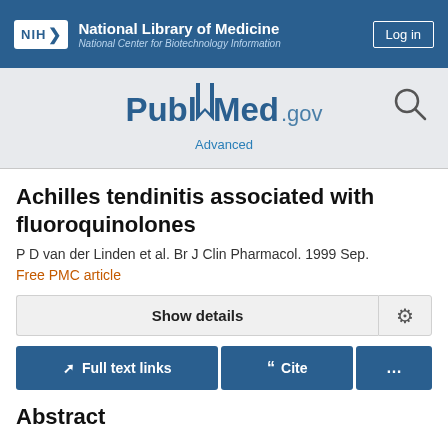NIH National Library of Medicine National Center for Biotechnology Information
[Figure (logo): PubMed.gov logo with search icon and Advanced link]
Achilles tendinitis associated with fluoroquinolones
P D van der Linden et al. Br J Clin Pharmacol. 1999 Sep.
Free PMC article
Show details
Full text links	Cite	...
Abstract